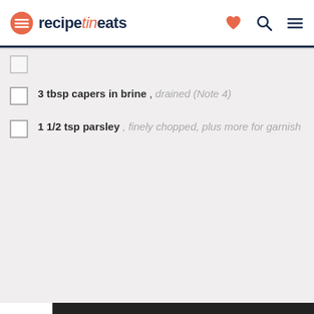recipetineats
3 tbsp capers in brine , drained (Note 4)
1 1/2 tsp parsley , finely chopped, plus more for garnish
Instr...
Celebrate Labor Day Weekend with 30% off PUMA Sale. Visit...